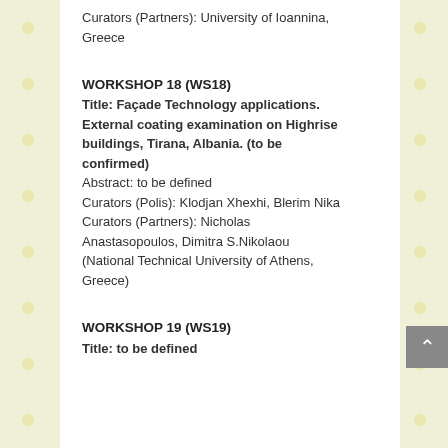Curators (Partners): University of Ioannina, Greece
WORKSHOP 18 (WS18)
Title: Façade Technology applications. External coating examination on Highrise buildings, Tirana, Albania. (to be confirmed)
Abstract: to be defined
Curators (Polis): Klodjan Xhexhi, Blerim Nika
Curators (Partners): Nicholas Anastasopoulos, Dimitra S.Nikolaou (National Technical University of Athens, Greece)
WORKSHOP 19 (WS19)
Title: to be defined